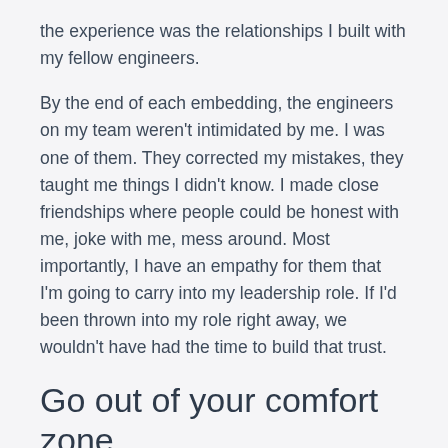the experience was the relationships I built with my fellow engineers.
By the end of each embedding, the engineers on my team weren’t intimidated by me. I was one of them. They corrected my mistakes, they taught me things I didn’t know. I made close friendships where people could be honest with me, joke with me, mess around. Most importantly, I have an empathy for them that I’m going to carry into my leadership role. If I’d been thrown into my role right away, we wouldn’t have had the time to build that trust.
Go out of your comfort zone
As I mentioned earlier, my experience before HubSpot was on backend distributed systems. So